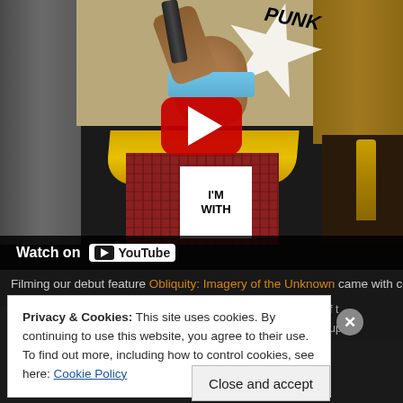[Figure (screenshot): YouTube video thumbnail showing a person in a kitchen wearing a yellow cape and plaid shirt with a white sign reading 'I'M WITH', holding an object above their head with a blue blindfold over their eyes. A starburst shape with 'PUNK' text appears in the upper right. A large red YouTube play button is centered on the image. A dark bar at the bottom reads 'Watch on YouTube'.]
Filming our debut feature Obliquity: Imagery of the Unknown came with co
Privacy & Cookies: This site uses cookies. By continuing to use this website, you agree to their use.
To find out more, including how to control cookies, see here: Cookie Policy